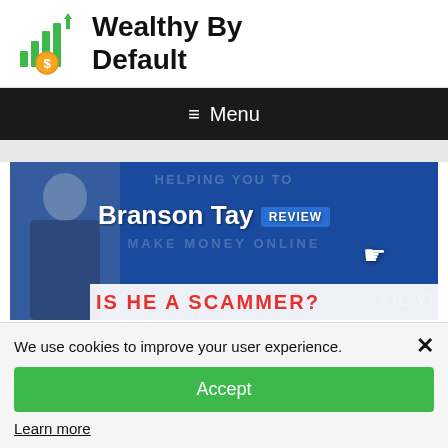Wealthy By Default
[Figure (screenshot): Branson Tay Review banner image on blue background with text 'Branson Tay REVIEW', 'HELPING YOU TO MAKE MONEY ONLINE', 'IS HE A SCAMMER?', and a cursor/hand icon]
We use cookies to improve your user experience.
Accept
Learn more